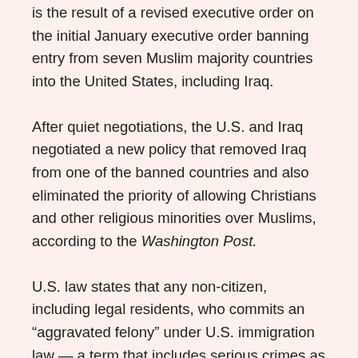is the result of a revised executive order on the initial January executive order banning entry from seven Muslim majority countries into the United States, including Iraq.
After quiet negotiations, the U.S. and Iraq negotiated a new policy that removed Iraq from one of the banned countries and also eliminated the priority of allowing Christians and other religious minorities over Muslims, according to the Washington Post.
U.S. law states that any non-citizen, including legal residents, who commits an “aggravated felony” under U.S. immigration law — a term that includes serious crimes as well as many nonviolent offenses and misdemeanors — is deportable, the Washington Post story stated. An example of a nonviolent crime could be drug trafficking or possession of marijuana. However, for the past several decades, immigration officials and federal judges have been slow to carry out deportations